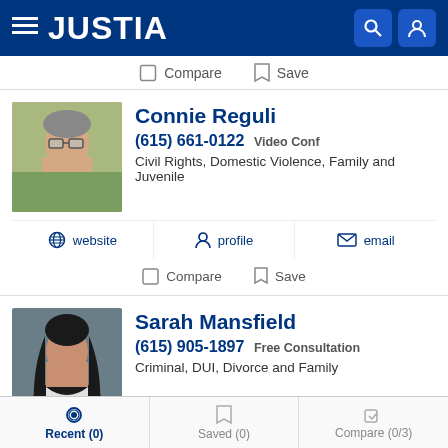JUSTIA
Compare   Save
Connie Reguli
(615) 661-0122 Video Conf
Civil Rights, Domestic Violence, Family and Juvenile
website   profile   email
Compare   Save
Sarah Mansfield
(615) 905-1897 Free Consultation
Criminal, DUI, Divorce and Family
website   profile   email
Recent (0)   Saved (0)   Compare (0/3)